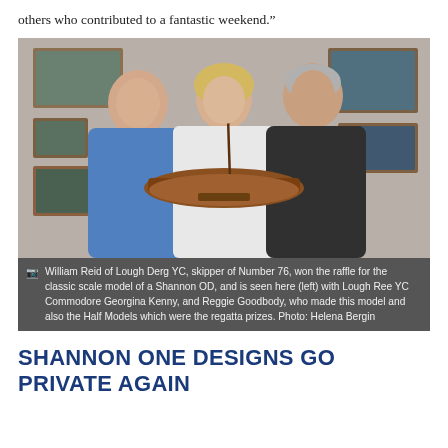others who contributed to a fantastic weekend.”
[Figure (photo): Three people standing together indoors, with framed pictures on the wall behind them. The woman in the centre is holding a wooden scale model of a sailing boat (Shannon OD). The man on the left wears a blue sweater and the man on the right wears a dark sweater.]
William Reid of Lough Derg YC, skipper of Number 76, won the raffle for the classic scale model of a Shannon OD, and is seen here (left) with Lough Ree YC Commodore Georgina Kenny, and Reggie Goodbody, who made this model and also the Half Models which were the regatta prizes. Photo: Helena Bergin
SHANNON ONE DESIGNS GO PRIVATE AGAIN